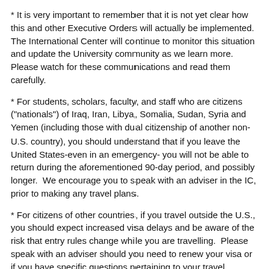* It is very important to remember that it is not yet clear how this and other Executive Orders will actually be implemented.  The International Center will continue to monitor this situation and update the University community as we learn more. Please watch for these communications and read them carefully.
* For students, scholars, faculty, and staff who are citizens ("nationals") of Iraq, Iran, Libya, Somalia, Sudan, Syria and Yemen (including those with dual citizenship of another non-U.S. country), you should understand that if you leave the United States-even in an emergency- you will not be able to return during the aforementioned 90-day period, and possibly longer.  We encourage you to speak with an adviser in the IC, prior to making any travel plans.
* For citizens of other countries, if you travel outside the U.S., you should expect increased visa delays and be aware of the risk that entry rules change while you are travelling.  Please speak with an adviser should you need to renew your visa or if you have specific questions pertaining to your travel.
* As always, continue to maintain your immigration status and to follow the advice you receive from the IC.